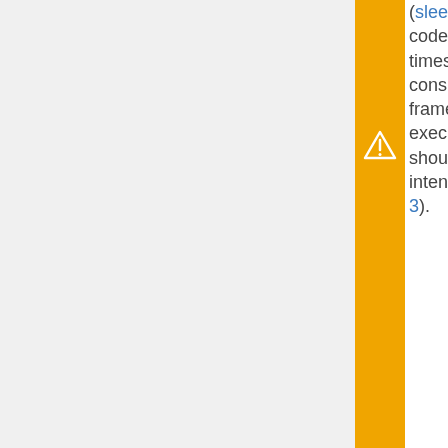(sleep or uiSleep) the code will run multiple times per frame and consumes the 3 ms per frame scheduler execution limit. This should be avoided if not intended (see Example 3).